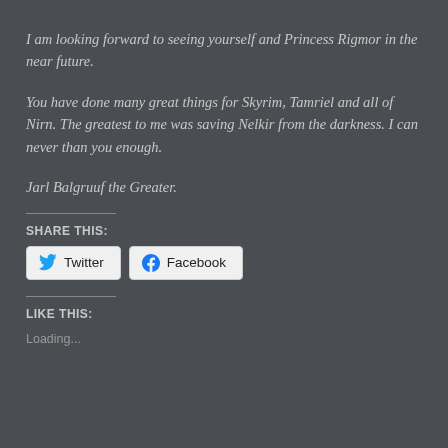I am looking forward to seeing yourself and Princess Rigmor in the near future.
You have done many great things for Skyrim, Tamriel and all of Nirn. The greatest to me was saving Nelkir from the darkness. I can never than you enough.
Jarl Balgruuf the Greater.
SHARE THIS:
[Figure (other): Share buttons for Twitter and Facebook]
LIKE THIS:
Loading...